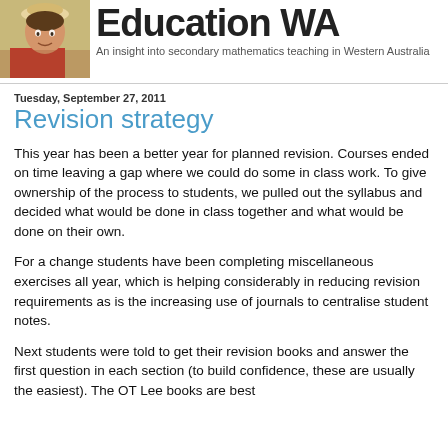Education WA — An insight into secondary mathematics teaching in Western Australia
Tuesday, September 27, 2011
Revision strategy
This year has been a better year for planned revision. Courses ended on time leaving a gap where we could do some in class work. To give ownership of the process to students, we pulled out the syllabus and decided what would be done in class together and what would be done on their own.
For a change students have been completing miscellaneous exercises all year, which is helping considerably in reducing revision requirements as is the increasing use of journals to centralise student notes.
Next students were told to get their revision books and answer the first question in each section (to build confidence, these are usually the easiest). The OT Lee books are best